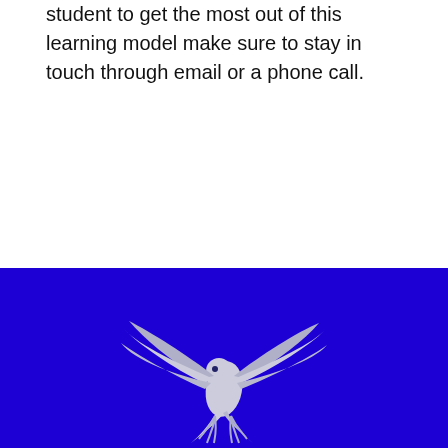student to get the most out of this learning model make sure to stay in touch through email or a phone call.
[Figure (logo): School mascot eagle logo in silver/white on a blue background, wings spread wide, diving downward]